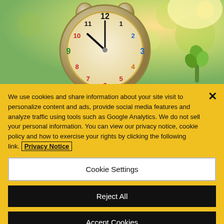[Figure (photo): A colorful alarm clock with multicolored numbers on its face, set against a blurred green outdoor background with sunlight and a small green plant.]
We use cookies and share information about your site visit to personalize content and ads, provide social media features and analyze traffic using tools such as Google Analytics. We do not sell your personal information. You can view our privacy notice, cookie policy and how to exercise your rights by clicking the following link. Privacy Notice
Cookie Settings
Reject All
Accept Cookies